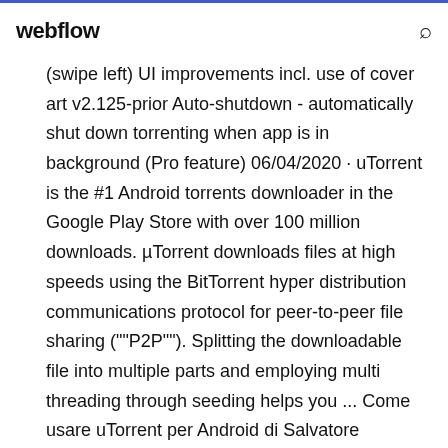webflow
(swipe left) UI improvements incl. use of cover art v2.125-prior Auto-shutdown - automatically shut down torrenting when app is in background (Pro feature) 06/04/2020 · uTorrent is the #1 Android torrents downloader in the Google Play Store with over 100 million downloads. µTorrent downloads files at high speeds using the BitTorrent hyper distribution communications protocol for peer-to-peer file sharing (""P2P""). Splitting the downloadable file into multiple parts and employing multi threading through seeding helps you ... Come usare uTorrent per Android di Salvatore Aranzulla. uTorrent lo conoscono tutti: si tratta di un software famoso di peer-to-peer per file